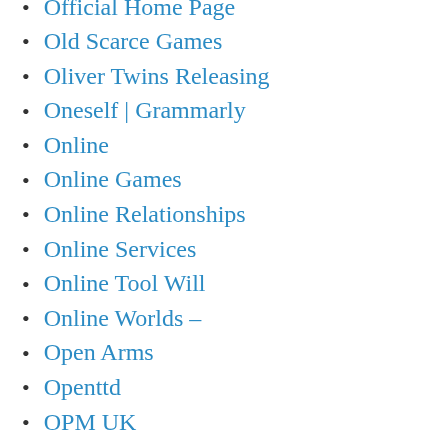Official Home Page
Old Scarce Games
Oliver Twins Releasing
Oneself | Grammarly
Online
Online Games
Online Relationships
Online Services
Online Tool Will
Online Worlds –
Open Arms
Openttd
OPM UK
Outward
Ox Zodiac
Oz Comic-Con
Ozzie Smith Blog